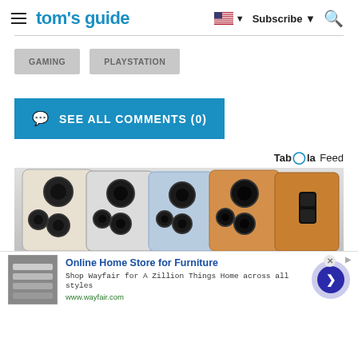tom's guide — Subscribe — Search
GAMING
PLAYSTATION
SEE ALL COMMENTS (0)
Taboola Feed
[Figure (photo): Multiple iPhone models lined up showing their rear triple-camera systems in various colors including silver, blue, and gold/orange]
Online Home Store for Furniture
Shop Wayfair for A Zillion Things Home across all styles
www.wayfair.com